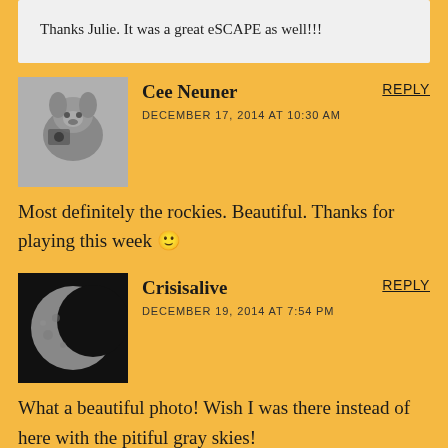Thanks Julie. It was a great eSCAPE as well!!!
Cee Neuner
DECEMBER 17, 2014 AT 10:30 AM
REPLY
Most definitely the rockies. Beautiful. Thanks for playing this week 🙂
Crisisalive
DECEMBER 19, 2014 AT 7:54 PM
REPLY
What a beautiful photo! Wish I was there instead of here with the pitiful gray skies!